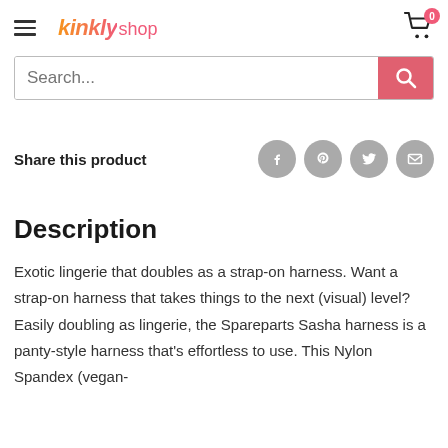[Figure (logo): Kinkly shop logo with hamburger menu and cart icon]
Search...
Share this product
Description
Exotic lingerie that doubles as a strap-on harness. Want a strap-on harness that takes things to the next (visual) level? Easily doubling as lingerie, the Spareparts Sasha harness is a panty-style harness that's effortless to use. This Nylon Spandex (vegan-